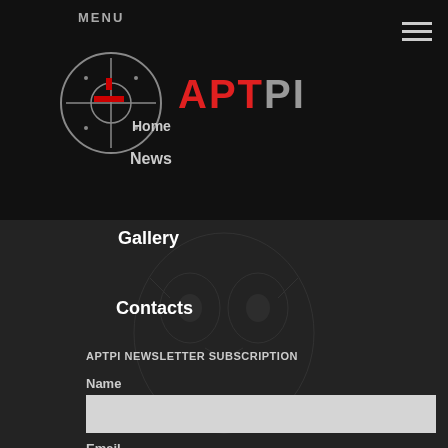MENU
[Figure (logo): APTPI circular logo with crosshair symbol in red and white on dark background]
APTPI
Home
News
Gallery
Contacts
APTPI NEWSLETTER SUBSCRIPTION
Name
Email